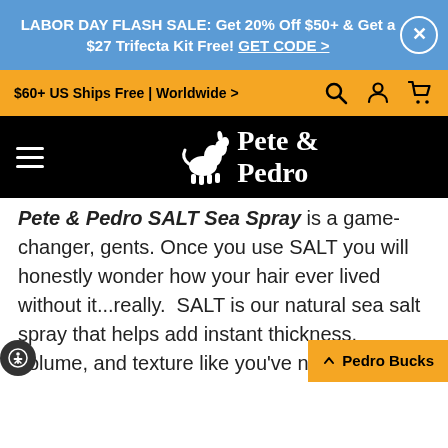LABOR DAY FLASH SALE: Get 20% Off $50+ & Get a $27 Trifecta Kit Free! GET CODE >
$60+ US Ships Free | Worldwide >
Pete & Pedro
Pete & Pedro SALT Sea Spray is a game-changer, gents. Once you use SALT you will honestly wonder how your hair ever lived without it...really. SALT is our natural sea salt spray that helps add instant thickness, volume, and texture like you've never dreamed possible. The oil-absorbing pre-styler mist also combines with sea...